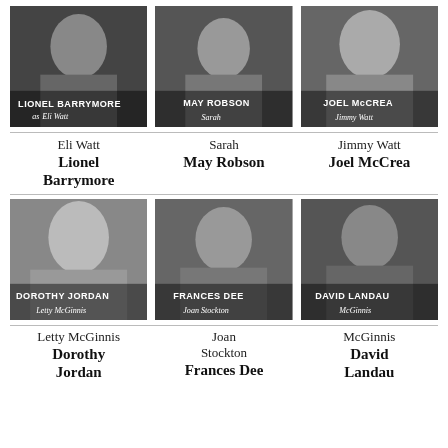[Figure (photo): Black and white film still of Lionel Barrymore as Eli Watt, text overlay reads LIONEL BARRYMORE as ELI WATT]
[Figure (photo): Black and white film still of May Robson as Sarah, text overlay reads MAY ROBSON Sarah]
[Figure (photo): Black and white film still of Joel McCrea as Jimmy Watt, text overlay reads JOEL McCREA Jimmy Watt]
Eli Watt
Lionel Barrymore
Sarah
May Robson
Jimmy Watt
Joel McCrea
[Figure (photo): Black and white film still of Dorothy Jordan as Letty McGinnis, text overlay reads DOROTHY JORDAN Letty McGinnis]
[Figure (photo): Black and white film still of Frances Dee as Joan Stockton, text overlay reads FRANCES DEE Joan Stockton]
[Figure (photo): Black and white film still of David Landau as McGinnis, text overlay reads DAVID LANDAU McGinnis]
Letty McGinnis
Dorothy Jordan
Joan Stockton
Frances Dee
McGinnis
David Landau